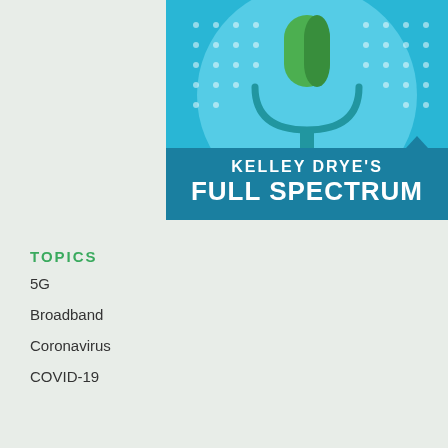[Figure (logo): Kelley Drye's Full Spectrum podcast logo featuring a green microphone on a light blue circular background with a darker blue banner at the bottom displaying the text 'KELLEY DRYE'S FULL SPECTRUM' in white bold letters]
TOPICS
5G
Broadband
Coronavirus
COVID-19